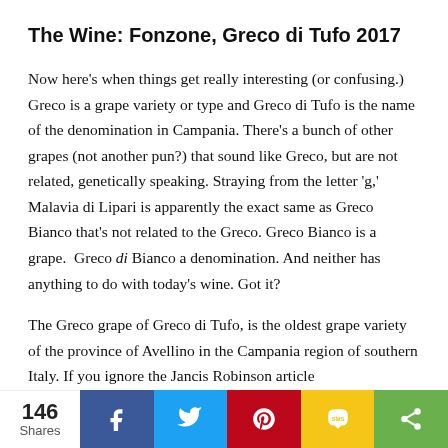The Wine: Fonzone, Greco di Tufo 2017
Now here's when things get really interesting (or confusing.) Greco is a grape variety or type and Greco di Tufo is the name of the denomination in Campania. There's a bunch of other grapes (not another pun?) that sound like Greco, but are not related, genetically speaking. Straying from the letter 'g,' Malavia di Lipari is apparently the exact same as Greco Bianco that's not related to the Greco. Greco Bianco is a grape.  Greco di Bianco a denomination. And neither has anything to do with today's wine. Got it?
The Greco grape of Greco di Tufo, is the oldest grape variety of the province of Avellino in the Campania region of southern Italy. If you ignore the Jancis Robinson article